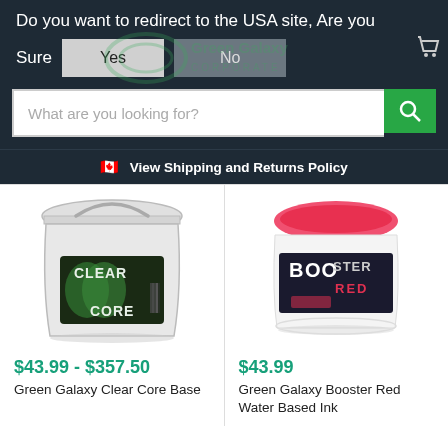Do you want to redirect to the USA site, Are you Sure
Yes
No
What are you looking for?
View Shipping and Returns Policy
[Figure (photo): White 5-gallon bucket of Green Galaxy Clear Core Base product]
$43.99 - $357.50
Green Galaxy Clear Core Base
[Figure (photo): Pink/red round container of Green Galaxy Booster Red Water Based Ink]
$43.99
Green Galaxy Booster Red Water Based Ink